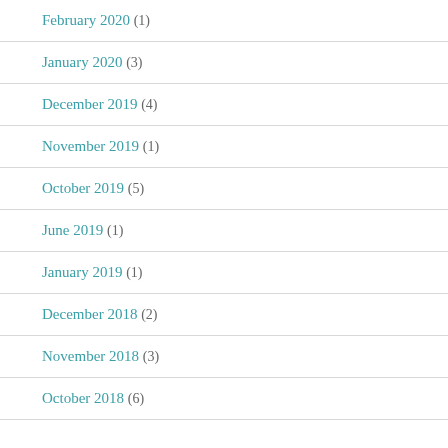February 2020 (1)
January 2020 (3)
December 2019 (4)
November 2019 (1)
October 2019 (5)
June 2019 (1)
January 2019 (1)
December 2018 (2)
November 2018 (3)
October 2018 (6)